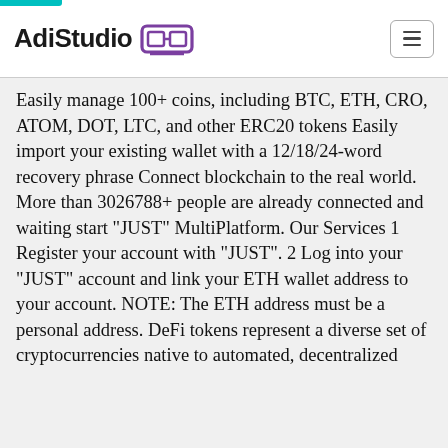AdiStudio
Easily manage 100+ coins, including BTC, ETH, CRO, ATOM, DOT, LTC, and other ERC20 tokens Easily import your existing wallet with a 12/18/24-word recovery phrase Connect blockchain to the real world. More than 3026788+ people are already connected and waiting start "JUST" MultiPlatform. Our Services 1 Register your account with "JUST". 2 Log into your "JUST" account and link your ETH wallet address to your account. NOTE: The ETH address must be a personal address. DeFi tokens represent a diverse set of cryptocurrencies native to automated, decentralized